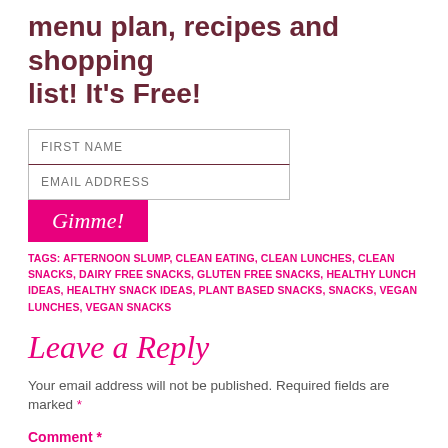menu plan, recipes and shopping list! It's Free!
[Figure (other): Web form with FIRST NAME input, EMAIL ADDRESS input, and a pink Gimme! button]
TAGS: AFTERNOON SLUMP, CLEAN EATING, CLEAN LUNCHES, CLEAN SNACKS, DAIRY FREE SNACKS, GLUTEN FREE SNACKS, HEALTHY LUNCH IDEAS, HEALTHY SNACK IDEAS, PLANT BASED SNACKS, SNACKS, VEGAN LUNCHES, VEGAN SNACKS
Leave a Reply
Your email address will not be published. Required fields are marked *
Comment *
[Figure (other): Empty comment text area with pink border]